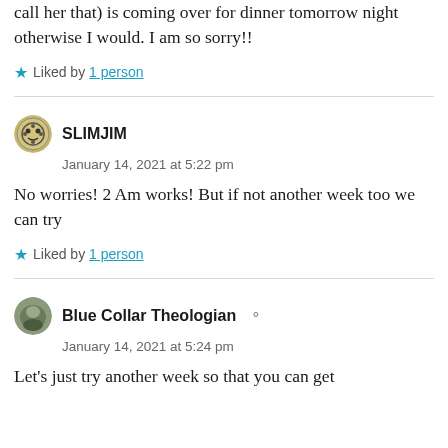call her that) is coming over for dinner tomorrow night otherwise I would. I am so sorry!!
★ Liked by 1 person
SLIMJIM
January 14, 2021 at 5:22 pm
No worries! 2 Am works! But if not another week too we can try
★ Liked by 1 person
Blue Collar Theologian
January 14, 2021 at 5:24 pm
Let's just try another week so that you can get